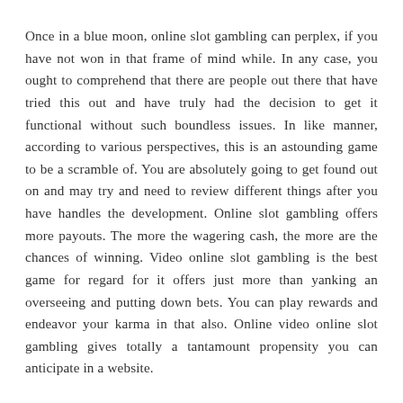Once in a blue moon, online slot gambling can perplex, if you have not won in that frame of mind while. In any case, you ought to comprehend that there are people out there that have tried this out and have truly had the decision to get it functional without such boundless issues. In like manner, according to various perspectives, this is an astounding game to be a scramble of. You are absolutely going to get found out on and may try and need to review different things after you have handles the development. Online slot gambling offers more payouts. The more the wagering cash, the more are the chances of winning. Video online slot gambling is the best game for regard for it offers just more than yanking an overseeing and putting down bets. You can play rewards and endeavor your karma in that also. Online video online slot gambling gives totally a tantamount propensity you can anticipate in a website.